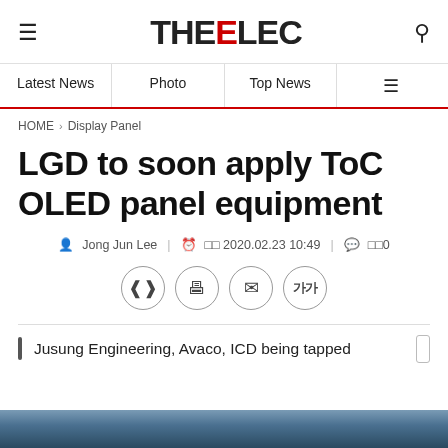THEELEC
Latest News | Photo | Top News
HOME > Display Panel
LGD to soon apply ToC OLED panel equipment
Jong Jun Lee | 2020.02.23 10:49 | 댓글0
Jusung Engineering, Avaco, ICD being tapped
[Figure (photo): Aerial landscape photo strip at bottom of page]